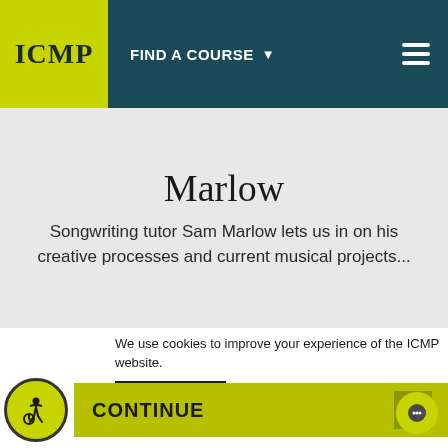ICMP | FIND A COURSE
Marlow
Songwriting tutor Sam Marlow lets us in on his creative processes and current musical projects...
We use cookies to improve your experience of the ICMP website.
Find out more
CONTINUE